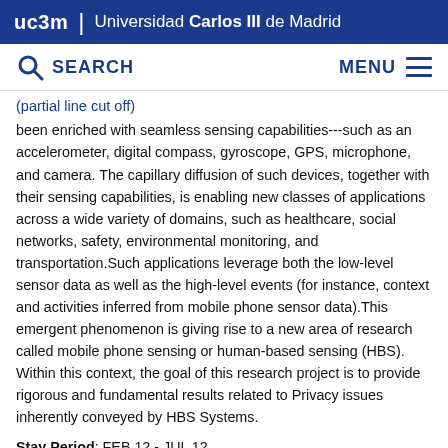uc3m | Universidad Carlos III de Madrid
SEARCH   MENU
been enriched with seamless sensing capabilities---such as an accelerometer, digital compass, gyroscope, GPS, microphone, and camera. The capillary diffusion of such devices, together with their sensing capabilities, is enabling new classes of applications across a wide variety of domains, such as healthcare, social networks, safety, environmental monitoring, and transportation.Such applications leverage both the low-level sensor data as well as the high-level events (for instance, context and activities inferred from mobile phone sensor data).This emergent phenomenon is giving rise to a new area of research called mobile phone sensing or human-based sensing (HBS). Within this context, the goal of this research project is to provide rigorous and fundamental results related to Privacy issues inherently conveyed by HBS Systems.
Stay Period: FEB 12 - JUL 12
Conferences